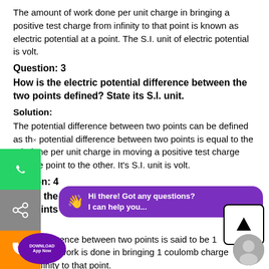The amount of work done per unit charge in bringing a positive test charge from infinity to that point is known as electric potential at a point. The S.I. unit of electric potential is volt.
Question: 3
How is the electric potential difference between the two points defined? State its S.I. unit.
Solution:
The potential difference between two points can be defined as the potential difference between two points is equal to the work done per unit charge in moving a positive test charge from one point to the other. It's S.I. unit is volt.
Question: 4
Explain the statement 'the potential difference between two points is 1 volt'.
Solution:
The potential difference between two points is said to be 1 volt when 1 joule of work is done in bringing 1 coulomb charge from infinity to that point.